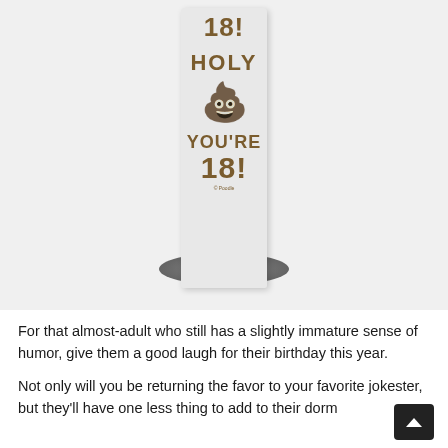[Figure (photo): Product photo of a novelty toilet paper roll on a holder. The unrolled paper strip reads 'HOLY [poop emoji] YOU'RE 18!' in brown text on light gray paper. A round metallic holder base is visible at the bottom.]
For that almost-adult who still has a slightly immature sense of humor, give them a good laugh for their birthday this year.
Not only will you be returning the favor to your favorite jokester, but they'll have one less thing to add to their dorm